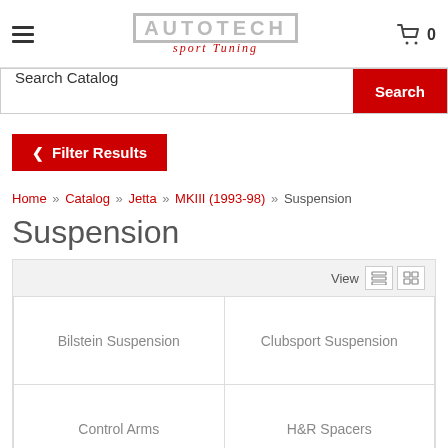AUTOTECH sport tuning — cart 0
Search Catalog
Filter Results
Home » Catalog » Jetta » MKIII (1993-98) » Suspension
Suspension
View
Bilstein Suspension
Clubsport Suspension
Control Arms
H&R Spacers